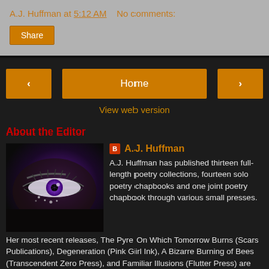A.J. Huffman at 5:12 AM   No comments:
Share
‹   Home   ›
View web version
About the Editor
[Figure (photo): Close-up artistic photo of an eye with purple iris and dark stylized makeup]
A.J. Huffman
A.J. Huffman has published thirteen full-length poetry collections, fourteen solo poetry chapbooks and one joint poetry chapbook through various small presses. Her most recent releases, The Pyre On Which Tomorrow Burns (Scars Publications), Degeneration (Pink Girl Ink), A Bizarre Burning of Bees (Transcendent Zero Press), and Familiar Illusions (Flutter Press) are now available from their respective publishers. She is a five-time Pushcart Prize nominee, a two-time Best of Net nominee, and has published over 2600 poems in various national and international journals, including Labletter, The James Dickey Review,